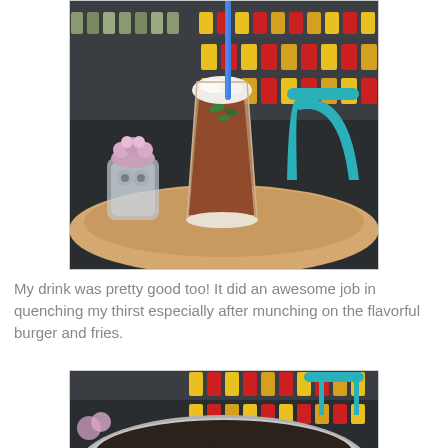[Figure (photo): A tall glass of iced tea or fruit drink with a blue straw, frothy top with mint leaves, sitting on a round wooden table. A succulent plant in a glass jar is visible to the left. A teal/turquoise chair is in the background. Shelves with colorful spice jars line the dark wall behind.]
My drink was pretty good too! It did an awesome job in quenching my thirst especially after munching on the flavorful burger and fries.
[Figure (photo): Close-up of a large round silver tray or plate with a dark soup or liquid, partially visible. The same teal chair and shelves of colorful jars are visible in the background. A small succulent plant is on the left edge.]